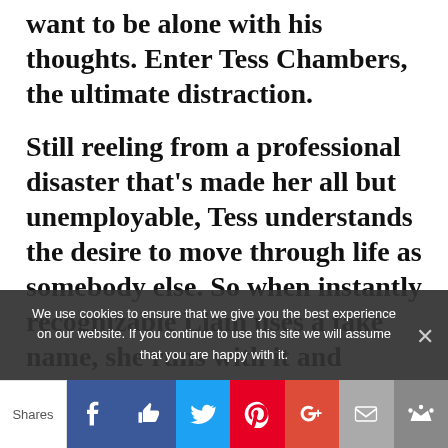want to be alone with his thoughts. Enter Tess Chambers, the ultimate distraction.
Still reeling from a professional disaster that's made her all but unemployable, Tess understands the desire to move through life as somebody else. So when instantly recognizable Liam uses a fake name, she runs with it and creates a temporary new identity of her own
We use cookies to ensure that we give you the best experience on our website. If you continue to use this site we will assume that you are happy with it.
Shares